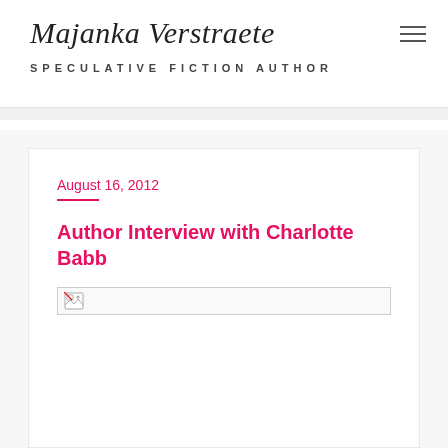Majanka Verstraete — SPECULATIVE FICTION AUTHOR
August 16, 2012
Author Interview with Charlotte Babb
[Figure (photo): Broken/missing image placeholder for the author interview post image]